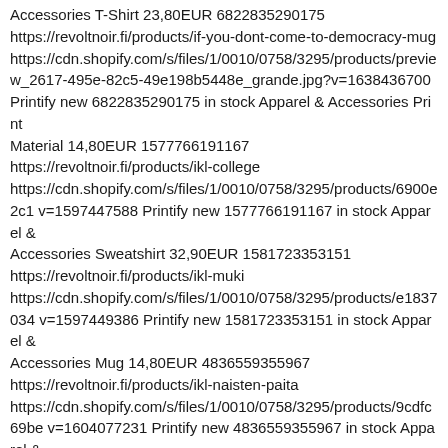Accessories T-Shirt 23,80EUR 6822835290175 https://revoltnoir.fi/products/if-you-dont-come-to-democracy-mug https://cdn.shopify.com/s/files/1/0010/0758/3295/products/preview_2617-495e-82c5-49e198b5448e_grande.jpg?v=1638436700 Printify new 6822835290175 in stock Apparel & Accessories Print Material 14,80EUR 1577766191167 https://revoltnoir.fi/products/ikl-college https://cdn.shopify.com/s/files/1/0010/0758/3295/products/6900e2c1 v=1597447588 Printify new 1577766191167 in stock Apparel & Accessories Sweatshirt 32,90EUR 1581723353151 https://revoltnoir.fi/products/ikl-muki https://cdn.shopify.com/s/files/1/0010/0758/3295/products/e1837034 v=1597449386 Printify new 1581723353151 in stock Apparel & Accessories Mug 14,80EUR 4836559355967 https://revoltnoir.fi/products/ikl-naisten-paita https://cdn.shopify.com/s/files/1/0010/0758/3295/products/9cdfc69be v=1604077231 Printify new 4836559355967 in stock Apparel & Accessories T-Shirt 23,80EUR 6789984321599 https://revoltnoir.fi/products/ikl-postikortit-10-kpl https://cdn.shopify.com/s/files/1/0010/0758/3295/products/preview_c485-4d1d-8c96-c6e697b4f0f4_grande.jpg?v=1635501938 Printify new 6789984321599 in stock Apparel & Accessories Print Material 19,00EUR 4343141466175 https://revoltnoir.fi/products/ingria-t-paita-unisex https://cdn.shopify.com/s/files/1/0010/0758/3295/products/6f9a201b